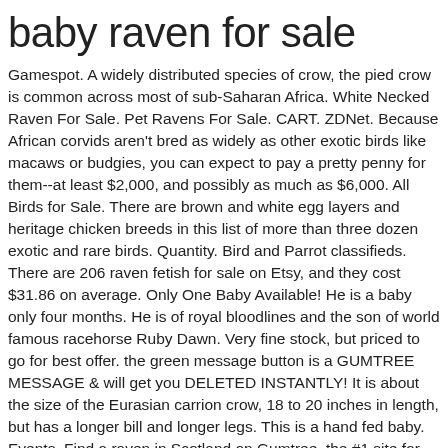baby raven for sale
Gamespot. A widely distributed species of crow, the pied crow is common across most of sub-Saharan Africa. White Necked Raven For Sale. Pet Ravens For Sale. CART. ZDNet. Because African corvids aren't bred as widely as other exotic birds like macaws or budgies, you can expect to pay a pretty penny for them--at least $2,000, and possibly as much as $6,000. All Birds for Sale. There are brown and white egg layers and heritage chicken breeds in this list of more than three dozen exotic and rare birds. Quantity. Bird and Parrot classifieds. There are 206 raven fetish for sale on Etsy, and they cost $31.86 on average. Only One Baby Available! He is a baby only four months. He is of royal bloodlines and the son of world famous racehorse Ruby Dawn. Very fine stock, but priced to go for best offer. the green message button is a GUMTREE MESSAGE & will get you DELETED INSTANTLY! It is about the size of the Eurasian carrion crow, 18 to 20 inches in length, but has a longer bill and longer legs. This is a hand fed baby. Events. Find a raven in Scotland on Gumtree, the #1 site for Stuff for Sale classifieds ads in the UK. Where can I buy a baby crow or raven? Get the best deals on Raven Baby Hats when you shop the largest online selection at eBay.com. 0 0. daak. Josie are new baby girl. Raven is one of the